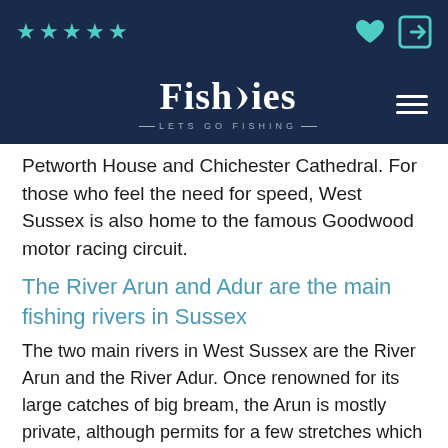★★★★★ [heart icon] [login icon]
[Figure (logo): Fisheries logo with tagline LETS GO FISHING on dark navy background with hamburger menu]
Petworth House and Chichester Cathedral. For those who feel the need for speed, West Sussex is also home to the famous Goodwood motor racing circuit.
The River Arun and Adur are the main fishing rivers in Sussex
The two main rivers in West Sussex are the River Arun and the River Adur. Once renowned for its large catches of big bream, the Arun is mostly private, although permits for a few stretches which are available on day ticket can be obtained from the tackle shop in Arundel. The tackle shop is also where details of fishing clubs